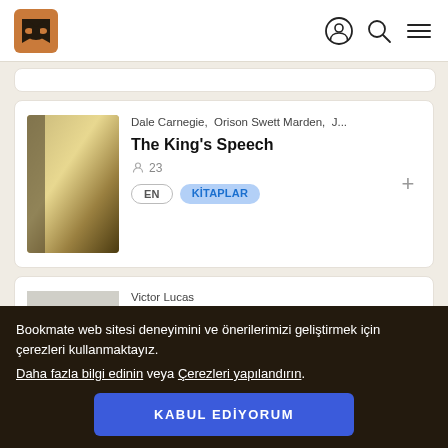Bookmate logo, user icon, search icon, menu icon
[Figure (screenshot): Partially visible book card at top]
Dale Carnegie,  Orison Swett Marden,  J...
The King's Speech
23
EN   KİTAPLAR
Victor Lucas
Stock Market Investing for Beginners
Bookmate web sitesi deneyimini ve önerilerimizi geliştirmek için çerezleri kullanmaktayız.
Daha fazla bilgi edinin veya Çerezleri yapılandırın.
KABUL EDİYORUM